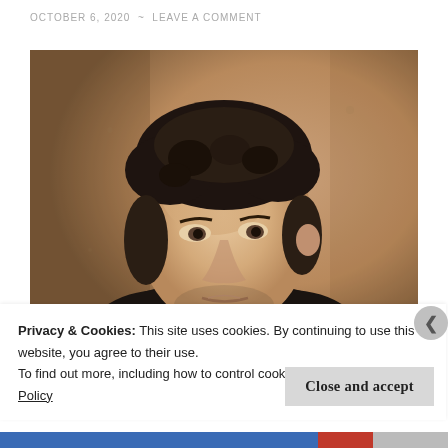OCTOBER 6, 2020 ~ LEAVE A COMMENT
[Figure (photo): Portrait painting of a middle-aged man with dark curly hair and sideburns, wearing a dark coat, against a warm brown background — classical oil painting style.]
Privacy & Cookies: This site uses cookies. By continuing to use this website, you agree to their use.
To find out more, including how to control cookies, see here: Cookie Policy
Close and accept